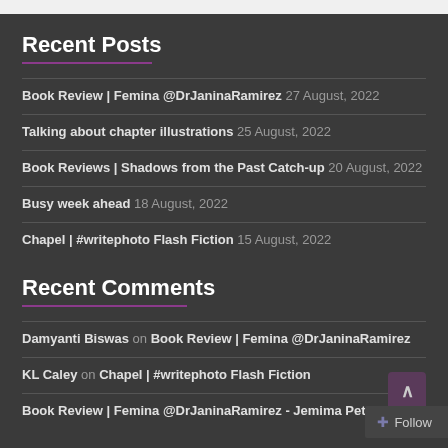Recent Posts
Book Review | Femina @DrJaninaRamirez 27 August, 2022
Talking about chapter illustrations 25 August, 2022
Book Reviews | Shadows from the Past Catch-up 20 August, 2022
Busy week ahead 18 August, 2022
Chapel | #writephoto Flash Fiction 15 August, 2022
Recent Comments
Damyanti Biswas on Book Review | Femina @DrJaninaRamirez
KL Caley on Chapel | #writephoto Flash Fiction
Book Review | Femina @DrJaninaRamirez - Jemima Pet…